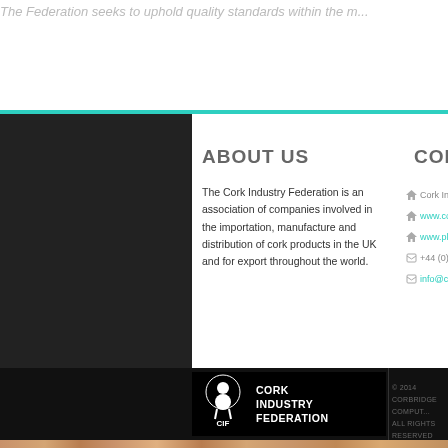The Federation seeks to uphold quality standards within the m...
ABOUT US
The Cork Industry Federation is an association of companies involved in the importation, manufacture and distribution of cork products in the UK and for export throughout the world.
CONTACT U...
Cork Industr...
www.cork-p...
www.planetc...
+44 (0) 7814...
info@cork-p...
[Figure (logo): Cork Industry Federation logo: black background with white figure icon and text CORK INDUSTRY FEDERATION]
© 2014 CORBRIDGE COMPUT... ALL RIGHTS RESERVED